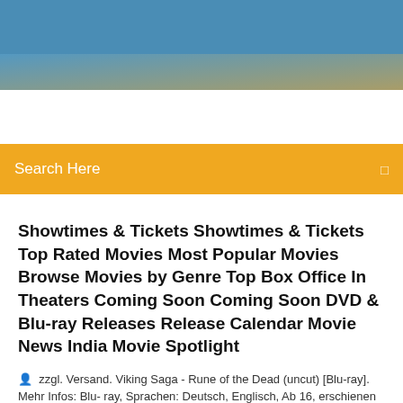[Figure (photo): Blue gradient header banner at the top of the page]
Search Here
Showtimes & Tickets Showtimes & Tickets Top Rated Movies Most Popular Movies Browse Movies by Genre Top Box Office In Theaters Coming Soon Coming Soon DVD & Blu-ray Releases Release Calendar Movie News India Movie Spotlight
zzgl. Versand. Viking Saga - Rune of the Dead (uncut) [Blu-ray]. Mehr Infos: Blu- ray, Sprachen: Deutsch, Englisch, Ab 16, erschienen am 23.08.2019. Zum Shop. |
6 Comments